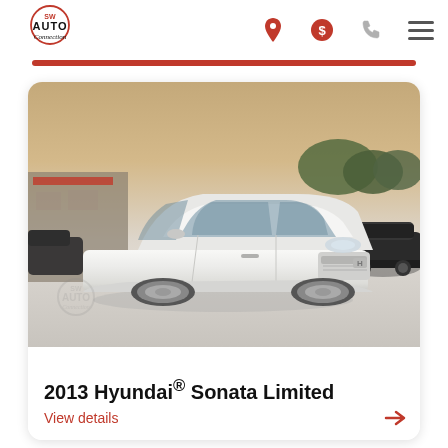[Figure (logo): SW Auto Connection logo with red circular badge and script text]
[Figure (photo): White 2013 Hyundai Sonata Limited parked in a dealership lot at dusk, front three-quarter view]
2013 Hyundai® Sonata Limited
View details →